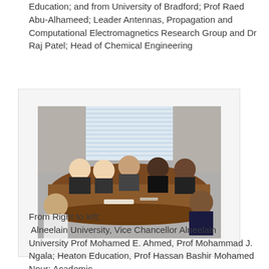Education; and from University of Bradford; Prof Raed Abu-Alhameed; Leader Antennas, Propagation and Computational Electromagnetics Research Group and Dr Raj Patel; Head of Chemical Engineering
[Figure (photo): Group of people seated around a conference table in a meeting room, photographed from the end of the table. Window with vertical blinds in the background.]
From Right to left;
 Alneelain University, Vice Chancellor Alneelain University Prof Mohamed E. Ahmed, Prof Mohammad J. Ngala; Heaton Education, Prof Hassan Bashir Mohamed Nour; Academic